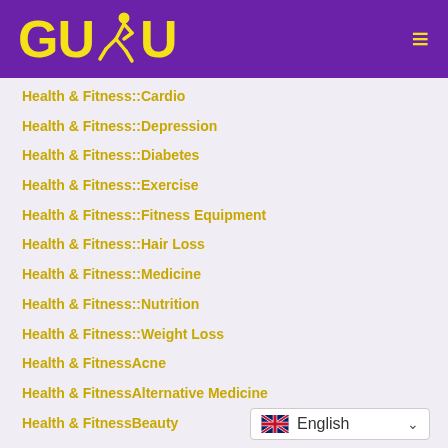[Figure (logo): GUDU logo with yellow text and running figure on purple background, with hamburger menu icon on right]
Health & Fitness::Cardio
Health & Fitness::Depression
Health & Fitness::Diabetes
Health & Fitness::Exercise
Health & Fitness::Fitness Equipment
Health & Fitness::Hair Loss
Health & Fitness::Medicine
Health & Fitness::Nutrition
Health & Fitness::Weight Loss
Health & FitnessAcne
Health & FitnessAlternative Medicine
Health & FitnessBeauty
English